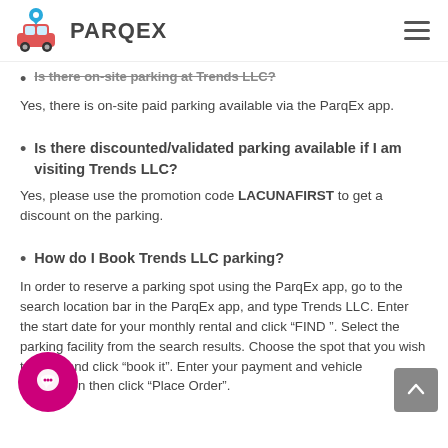PARQEX
Is there on-site parking at Trends LLC?
Yes, there is on-site paid parking available via the ParqEx app.
Is there discounted/validated parking available if I am visiting Trends LLC?
Yes, please use the promotion code LACUNAFIRST to get a discount on the parking.
How do I Book Trends LLC parking?
In order to reserve a parking spot using the ParqEx app, go to the search location bar in the ParqEx app, and type Trends LLC. Enter the start date for your monthly rental and click “FIND ”. Select the parking facility from the search results. Choose the spot that you wish to book and click “book it”. Enter your payment and vehicle information then click “Place Order”.